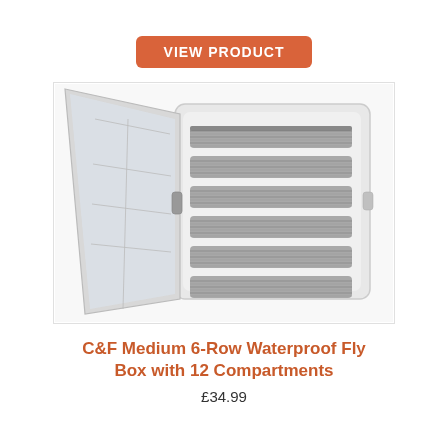VIEW PRODUCT
[Figure (photo): Open fly fishing box: left side shows clear plastic compartments, right side shows 6 rows of grey foam/silicone strips for holding flies. Box is white/light grey, photographed at angle on white background.]
C&F Medium 6-Row Waterproof Fly Box with 12 Compartments
£34.99